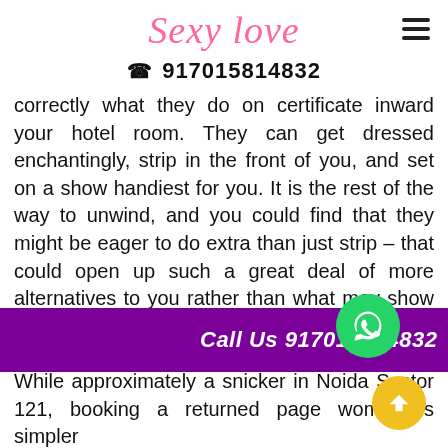Sexy Love
☎ 917015814832
correctly what they do on certificate inward your hotel room. They can get dressed enchantingly, strip in the front of you, and set on a show handiest for you. It is the rest of the way to unwind, and you could find that they might be eager to do extra than just strip – that could open up such a great deal of more alternatives to you rather than what may show up in the event that you have been at stringlah
While approximately a snicker in Noida Sector 121, booking a returned page woman is simpler